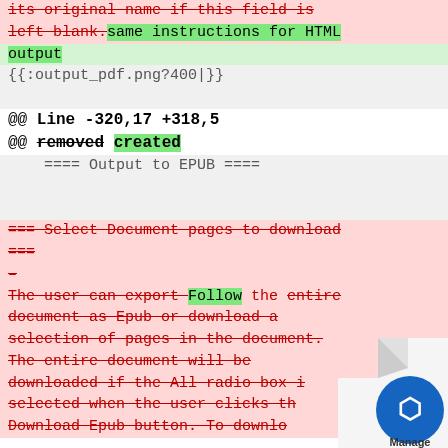its original name if this field is left blank. same instructions for HTML output
{{:output_pdf.png?400|}}
@@ Line -320,17 +318,5
@@ removed created
==== Output to EPUB ====
=== Select Document pages to download ===
-
The user can export Follow the entire document as Epub or download a selection of pages in the document. The entire document will be downloaded if the All radio box is selected when the user clicks the Download Epub button. To downlo